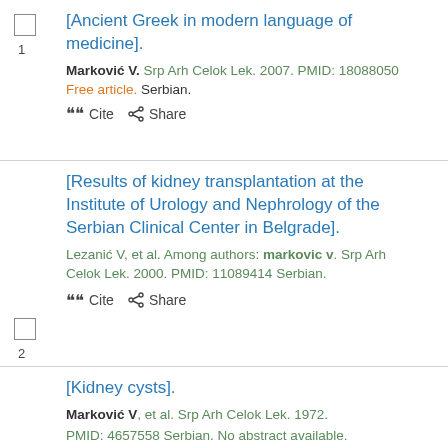[Ancient Greek in modern language of medicine]. Marković V. Srp Arh Celok Lek. 2007. PMID: 18088050 Free article. Serbian.
[Results of kidney transplantation at the Institute of Urology and Nephrology of the Serbian Clinical Center in Belgrade]. Lezanić V, et al. Among authors: markovic v. Srp Arh Celok Lek. 2000. PMID: 11089414 Serbian.
[Kidney cysts]. Marković V, et al. Srp Arh Celok Lek. 1972. PMID: 4657558 Serbian. No abstract available.